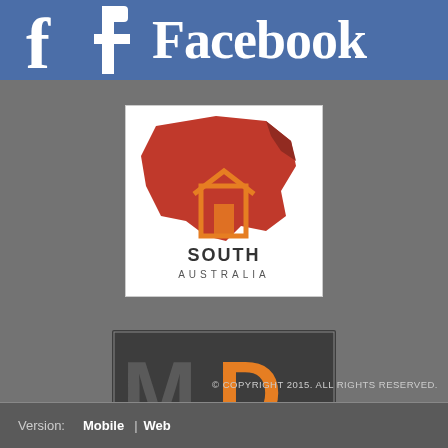[Figure (logo): Facebook logo with blue background, white 'f' icon and 'Facebook' text in white bold serif font]
[Figure (logo): South Australia logo: red/orange map of Australia shape with orange door frame icon, text SOUTH AUSTRALIA below on white background]
[Figure (logo): MD Pest Control logo: dark grey background with large orange D and grey M, text PEST CONTROL and RESIDENTIAL | COMMERCIAL below]
© COPYRIGHT 2015. ALL RIGHTS RESERVED.
Version:  Mobile  |  Web